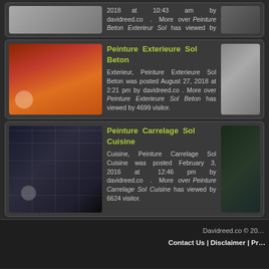2018 at 10:43 am by davidreed.co . More over Peinture Beton Exterieur Sol has viewed by 3982 visitor.
Peinture Exterieure Sol Beton
Exterieur, Peinture Exterieure Sol Beton was posted August 27, 2018 at 2:21 pm by davidreed.co . More over Peinture Exterieure Sol Beton has viewed by 4699 visitor.
Peinture Carrelage Sol Cuisine
Cuisine, Peinture Carrelage Sol Cuisine was posted February 3, 2016 at 12:46 pm by davidreed.co . More over Peinture Carrelage Sol Cuisine has viewed by 6624 visitor.
Davidreed.co © 20…  Contact Us | Disclaimer | Pr…